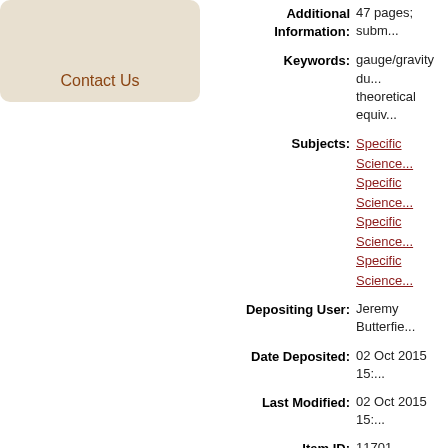Contact Us
Additional Information: 47 pages; subm...
Keywords: gauge/gravity du... theoretical equiv...
Subjects: Specific Science... Specific Science... Specific Science... Specific Science...
Depositing User: Jeremy Butterfie...
Date Deposited: 02 Oct 2015 15:...
Last Modified: 02 Oct 2015 15:...
Item ID: 11701
Official URL: http://arxiv.org/a...
Subjects: Specific Science... Specific Science... Specific Science... Specific Science...
Date: September 2015
URI: http://philsci-arch...